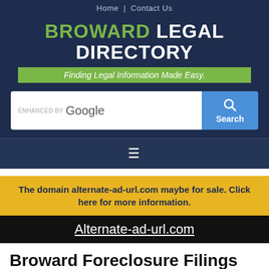Home | Contact Us
BROWARD LEGAL DIRECTORY
Finding Legal Information Made Easy.
[Figure (screenshot): Search bar with 'ENHANCED BY Google' text and a blue Search button with magnifying glass icon]
[Figure (other): Hamburger menu icon (three horizontal lines)]
The domain alternate-ad-url.com maybe for sale. Click here for more information.
Alternate-ad-url.com
Broward Foreclosure Filings
Below are the Broward County Foreclosure filings for the